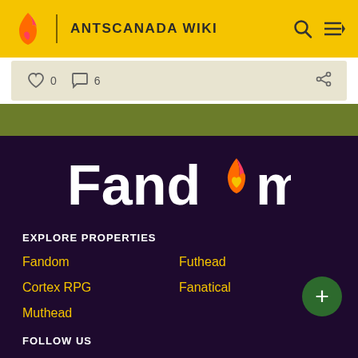ANTSCANADA WIKI
0  6
[Figure (logo): Fandom logo with flame and heart icon, white bold text on dark purple background]
EXPLORE PROPERTIES
Fandom
Futhead
Cortex RPG
Fanatical
Muthead
FOLLOW US